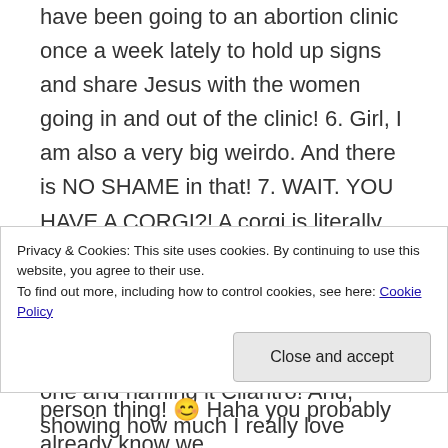have been going to an abortion clinic once a week lately to hold up signs and share Jesus with the women going in and out of the clinic! 6. Girl, I am also a very big weirdo. And there is NO SHAME in that! 7. WAIT. YOU HAVE A CORGI?! A corgi is literally my dream dog and I am so determined to get one!! (or 5, numbers don't matter) What is your corgis name??? I dream of getting one and naming it Cilantro! And, showing how much I really love cheese, I want to get another and name it cheese puff! Whose nickname will be puffy. 8. I actually love rainy days and dancing in rain, ahhhh oh my goodness such a dreamy thing to do! ❤ Thunderstorms are one of my
Privacy & Cookies: This site uses cookies. By continuing to use this website, you agree to their use. To find out more, including how to control cookies, see here: Cookie Policy
Close and accept
person thing! 😊 Haha you probably already know we